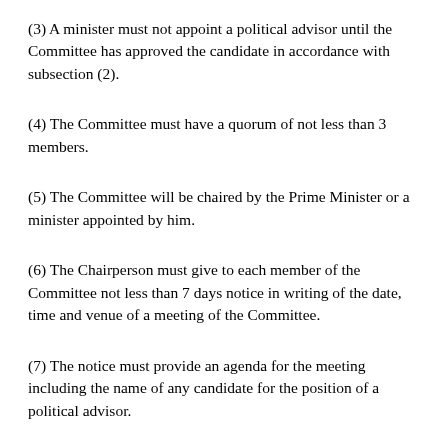(3) A minister must not appoint a political advisor until the Committee has approved the candidate in accordance with subsection (2).
(4) The Committee must have a quorum of not less than 3 members.
(5) The Committee will be chaired by the Prime Minister or a minister appointed by him.
(6) The Chairperson must give to each member of the Committee not less than 7 days notice in writing of the date, time and venue of a meeting of the Committee.
(7) The notice must provide an agenda for the meeting including the name of any candidate for the position of a political advisor.